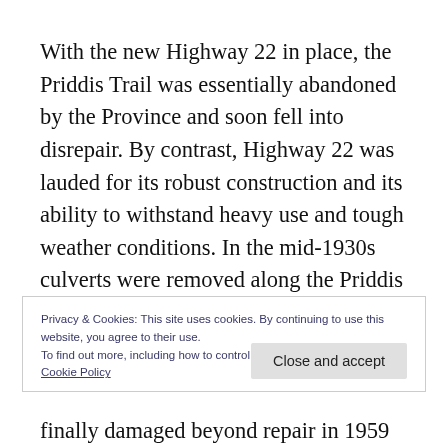With the new Highway 22 in place, the Priddis Trail was essentially abandoned by the Province and soon fell into disrepair. By contrast, Highway 22 was lauded for its robust construction and its ability to withstand heavy use and tough weather conditions. In the mid-1930s culverts were removed along the Priddis Trail and the road began to deteriorate; the Province's maintenance efforts seemingly
Privacy & Cookies: This site uses cookies. By continuing to use this website, you agree to their use.
To find out more, including how to control cookies, see here:
Cookie Policy
Close and accept
finally damaged beyond repair in 1959